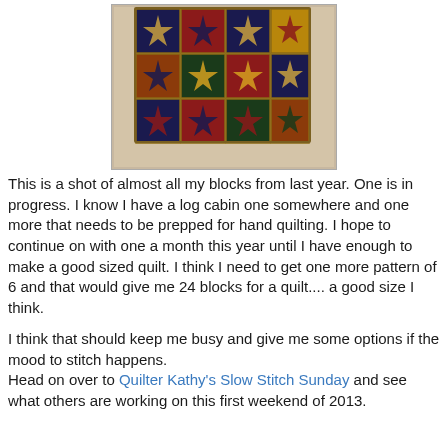[Figure (photo): A photograph of multiple quilting blocks laid out on a light carpet floor, showing various geometric star and cross patterns in dark navy, red, gold, and green fabrics arranged in a grid.]
This is a shot of almost all my blocks from last year. One is in progress. I know I have a log cabin one somewhere and one more that needs to be prepped for hand quilting. I hope to continue on with one a month this year until I have enough to make a good sized quilt. I think I need to get one more pattern of 6 and that would give me 24 blocks for a quilt.... a good size I think.
I think that should keep me busy and give me some options if the mood to stitch happens.
Head on over to Quilter Kathy's Slow Stitch Sunday and see what others are working on this first weekend of 2013.